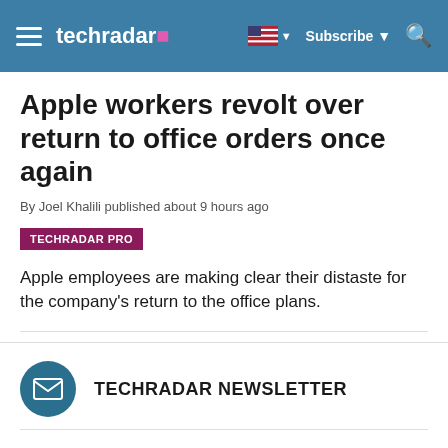techradar | Subscribe
Apple workers revolt over return to office orders once again
By Joel Khalili published about 9 hours ago
TECHRADAR PRO
Apple employees are making clear their distaste for the company's return to the office plans.
TECHRADAR NEWSLETTER
Sign up to get breaking news, reviews, opinion, analysis and more, plus the